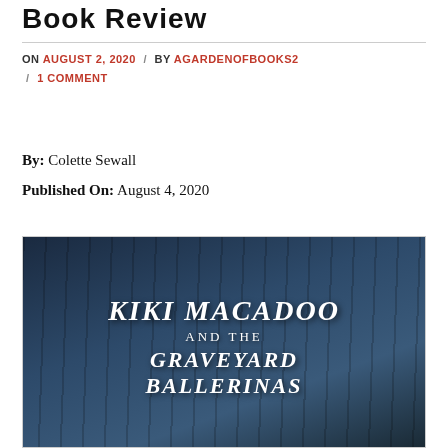Book Review
ON AUGUST 2, 2020 / BY AGARDENOFBOOKS2 / 1 COMMENT
By: Colette Sewall
Published On: August 4, 2020
[Figure (photo): Book cover of 'Kiki Macadoo and the Graveyard Ballerinas' — dark blue atmospheric forest background with white decorative text showing the title]